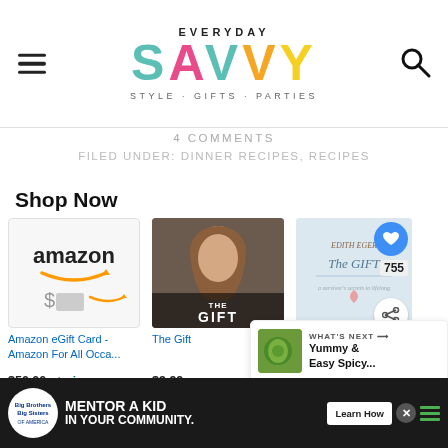EVERYDAY SAVVY — STYLE · GIFTS · PARTIES
4 COMMENTS
FILED UNDER: DINNER RECIPES, RECIPES
Shop Now
[Figure (screenshot): Amazon eGift Card product image showing Amazon logo and dollar sign with Amazon smile arrow]
Amazon eGift Card - Amazon For All Occa...
$50.00  prime
[Figure (screenshot): The Gift movie cover showing a woman's face with the title 'THE GIFT' at the bottom]
The Gift
$9.99
[Figure (screenshot): Book cover for 'The Gift' by Edith Eger with a heart/favorite button (755 saves) and share button overlay]
The Gi...
$14.00  $25.00
[Figure (screenshot): What's Next banner showing a green food image with text 'Yummy & Easy Spicy...']
[Figure (screenshot): Advertisement banner: Big Brothers Big Sisters — MENTOR A KID IN YOUR COMMUNITY. Learn How button.]